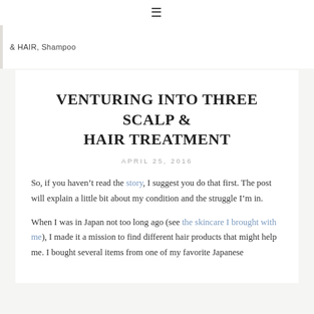≡
& HAIR, Shampoo
VENTURING INTO THREE SCALP & HAIR TREATMENT
APRIL 25, 2016
So, if you haven't read the story, I suggest you do that first. The post will explain a little bit about my condition and the struggle I'm in.
When I was in Japan not too long ago (see the skincare I brought with me), I made it a mission to find different hair products that might help me. I bought several items from one of my favorite Japanese